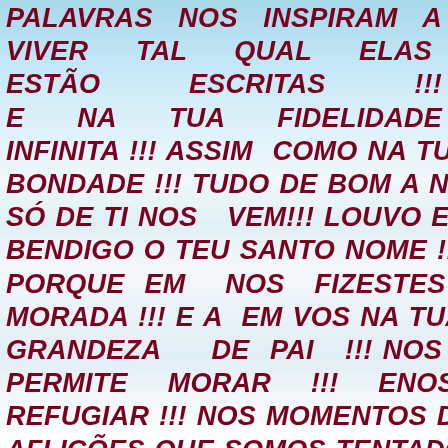PALAVRAS NOS INSPIRAM A VIVER TAL QUAL ELAS ESTÃO ESCRITAS !!! E NA TUA FIDELIDADE INFINITA !!! ASSIM COMO NA TUA BONDADE !!! TUDO DE BOM A NOS SÓ DE TI NOS VEM!!! LOUVO E BENDIGO O TEU SANTO NOME !!! PORQUE EM NOS FIZESTES MORADA !!! E A EM VOS NA TUA GRANDEZA DE PAI !!! NOS PERMITE MORAR !!! ENOS REFUGIAR !!! NOS MOMENTOS DE AFLIÇÕES QUE SOMOS TENTADOS A VIVER NESTA VIDA QUE NOS DESTES !!! SEI QUE NÃO VEM DE